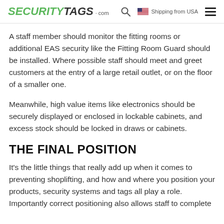SECURITY TAGS .com — Shipping from USA
A staff member should monitor the fitting rooms or additional EAS security like the Fitting Room Guard should be installed. Where possible staff should meet and greet customers at the entry of a large retail outlet, or on the floor of a smaller one.
Meanwhile, high value items like electronics should be securely displayed or enclosed in lockable cabinets, and excess stock should be locked in draws or cabinets.
THE FINAL POSITION
It's the little things that really add up when it comes to preventing shoplifting, and how and where you position your products, security systems and tags all play a role. Importantly correct positioning also allows staff to complete